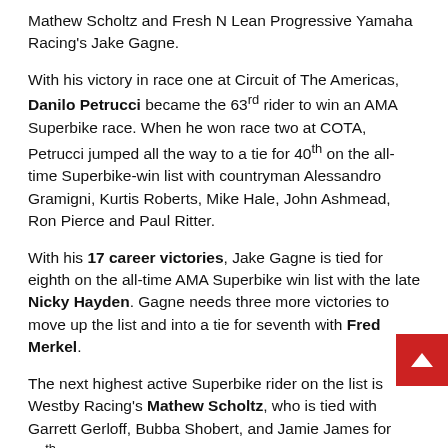Mathew Scholtz and Fresh N Lean Progressive Yamaha Racing's Jake Gagne.
With his victory in race one at Circuit of The Americas, Danilo Petrucci became the 63rd rider to win an AMA Superbike race. When he won race two at COTA, Petrucci jumped all the way to a tie for 40th on the all-time Superbike-win list with countryman Alessandro Gramigni, Kurtis Roberts, Mike Hale, John Ashmead, Ron Pierce and Paul Ritter.
With his 17 career victories, Jake Gagne is tied for eighth on the all-time AMA Superbike win list with the late Nicky Hayden. Gagne needs three more victories to move up the list and into a tie for seventh with Fred Merkel.
The next highest active Superbike rider on the list is Westby Racing's Mathew Scholtz, who is tied with Garrett Gerloff, Bubba Shobert, and Jamie James for 28th on the all-time list with four victories.
Six different manufacturers will be represented in the Medallin Superbike class at Road Atlanta. Yamaha leads...